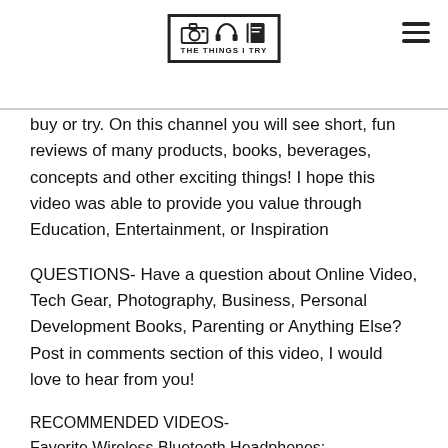THE THINGS I TRY
buy or try. On this channel you will see short, fun reviews of many products, books, beverages, concepts and other exciting things! I hope this video was able to provide you value through Education, Entertainment, or Inspiration
QUESTIONS- Have a question about Online Video, Tech Gear, Photography, Business, Personal Development Books, Parenting or Anything Else? Post in comments section of this video, I would love to hear from you!
RECOMMENDED VIDEOS-
Favorite Wireless Bluetooth Headphones:
https://youtu.be/kUMFS_S739Y